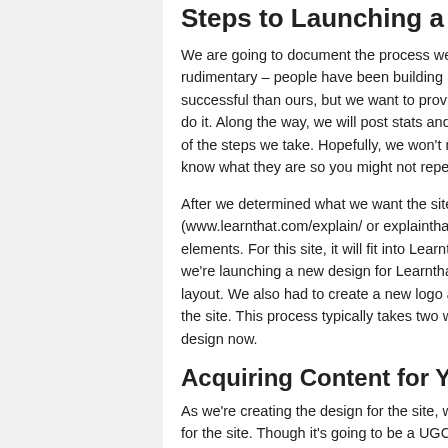Steps to Launching a Successful...
We are going to document the process we ... rudimentary – people have been building hi... successful than ours, but we want to provid... do it. Along the way, we will post stats and ... of the steps we take. Hopefully, we won't m... know what they are so you might not repea...
After we determined what we want the site ... (www.learnthat.com/explain/ or explainthat.... elements. For this site, it will fit into Learnt... we're launching a new design for Learnthat... layout. We also had to create a new logo a... the site. This process typically takes two we... design now.
Acquiring Content for Your Web...
As we're creating the design for the site, we... for the site. Though it's going to be a UGC ... couple hundred articles to get started.
We use Guru.com almost exclusively for co...